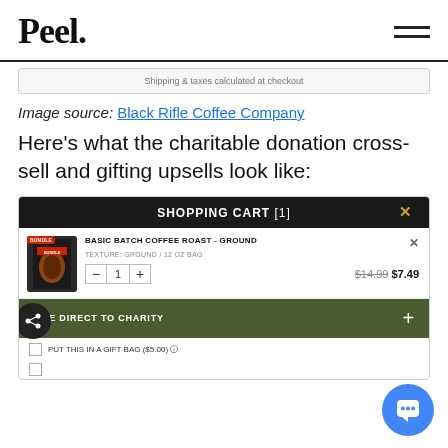Peel.
[Figure (screenshot): Partial screenshot showing 'Shipping & taxes calculated at checkout']
Image source: Black Rifle Coffee Company
Here's what the charitable donation cross-sell and gifting upsells look like:
[Figure (screenshot): Black Rifle Coffee Company shopping cart UI screenshot showing BASIC BATCH COFFEE ROAST - GROUND item, quantity selector, price $14.99 $7.49, DONATE DIRECT TO CHARITY bar, and PUT THIS IN A GIFT BAG ($5.00) option]